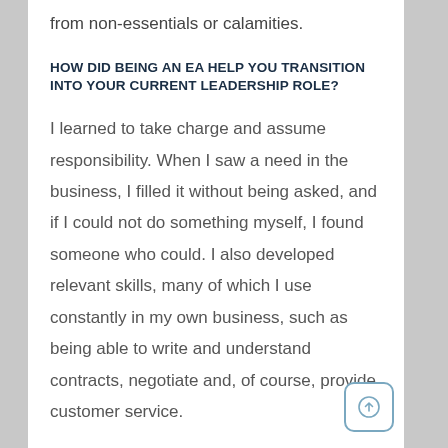from non-essentials or calamities.
HOW DID BEING AN EA HELP YOU TRANSITION INTO YOUR CURRENT LEADERSHIP ROLE?
I learned to take charge and assume responsibility. When I saw a need in the business, I filled it without being asked, and if I could not do something myself, I found someone who could. I also developed relevant skills, many of which I use constantly in my own business, such as being able to write and understand contracts, negotiate and, of course, provide customer service.